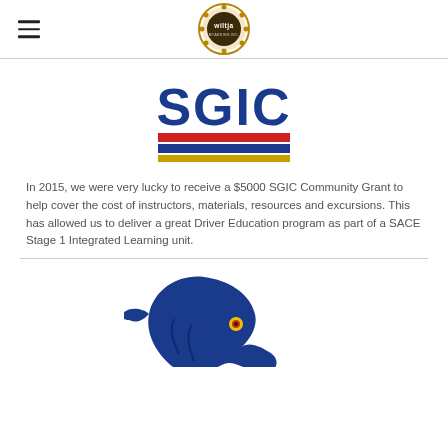Wiltja Boarding Inc. (logo) with hamburger menu
[Figure (logo): SGIC logo with blue text 'SGIC' and three horizontal stripes: red, blue, and gold/yellow]
In 2015, we were very lucky to receive a $5000 SGIC Community Grant to help cover the cost of instructors, materials, resources and excursions. This has allowed us to deliver a great Driver Education program as part of a SACE Stage 1 Integrated Learning unit.
[Figure (illustration): Adelaide Crows AFL team logo — a stylized blue crow/raven mascot head facing right, with yellow eye detail]